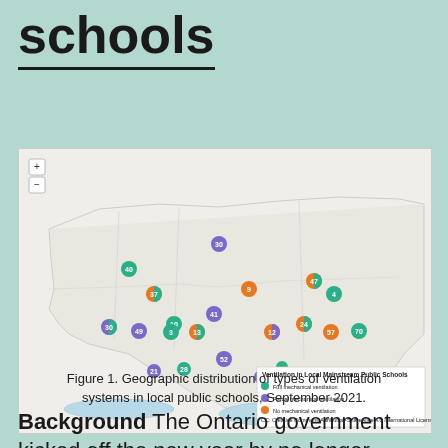schools
[Figure (map): Geographic map of Ontario showing distribution of ventilation system types in local mainstream public schools. Markers are color-coded: green for full mechanical ventilation, purple/blue for partial mechanical ventilation, orange for no mechanical ventilation. Multiple numbered markers are scattered across the map region.]
Figure 1. Geographic distribution of types of ventilation systems in local public schools, September 2021.
Background The Ontario government kicked off the new year by no longer requiring public